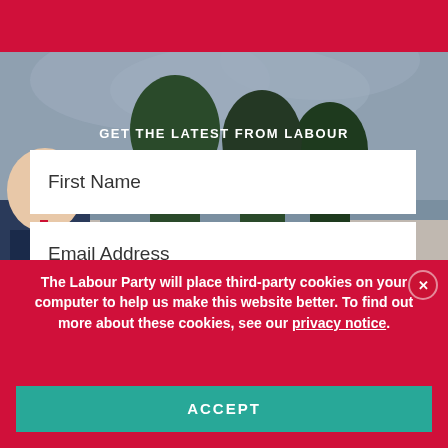[Figure (photo): Background photo of a smiling man in a suit with trees and houses behind him, partially obscured by red overlay and form elements]
GET THE LATEST FROM LABOUR
First Name
Email Address
The Labour Party will place third-party cookies on your computer to help us make this website better. To find out more about these cookies, see our privacy notice.
ACCEPT